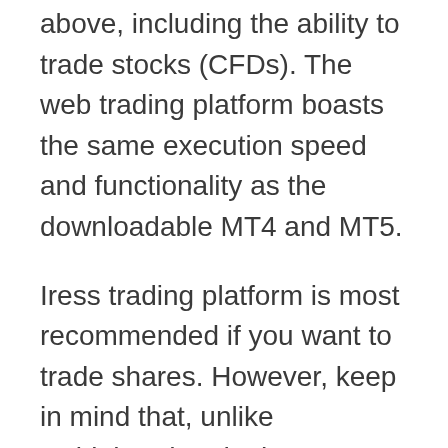above, including the ability to trade stocks (CFDs). The web trading platform boasts the same execution speed and functionality as the downloadable MT4 and MT5.
Iress trading platform is most recommended if you want to trade shares. However, keep in mind that, unlike Robinhood and other brokers, the FP Markets platform does not allow you to buy real stocks, only CFDs.